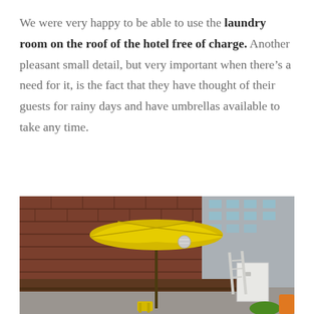We were very happy to be able to use the laundry room on the roof of the hotel free of charge. Another pleasant small detail, but very important when there's a need for it, is the fact that they have thought of their guests for rainy days and have umbrellas available to take any time.
[Figure (photo): Outdoor rooftop patio area with a large yellow patio umbrella, brick wall in the background, urban buildings visible, a ladder leaning against a white door, and colorful seating.]